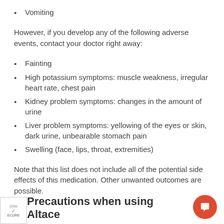Vomiting
However, if you develop any of the following adverse events, contact your doctor right away:
Fainting
High potassium symptoms: muscle weakness, irregular heart rate, chest pain
Kidney problem symptoms: changes in the amount of urine
Liver problem symptoms: yellowing of the eyes or skin, dark urine, unbearable stomach pain
Swelling (face, lips, throat, extremities)
Note that this list does not include all of the potential side effects of this medication. Other unwanted outcomes are possible.
Precautions when using Altace